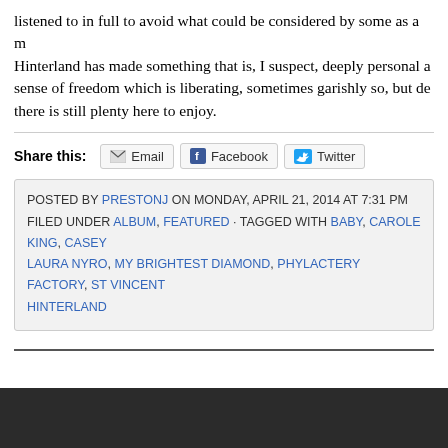listened to in full to avoid what could be considered by some as a m... Hinterland has made something that is, I suspect, deeply personal a... sense of freedom which is liberating, sometimes garishly so, but de... there is still plenty here to enjoy.
Share this: Email Facebook Twitter
POSTED BY PRESTONJ ON MONDAY, APRIL 21, 2014 AT 7:31 PM
FILED UNDER ALBUM, FEATURED · TAGGED WITH BABY, CAROLE KING, CASEY... LAURA NYRO, MY BRIGHTEST DIAMOND, PHYLACTERY FACTORY, ST VINCENT... HINTERLAND